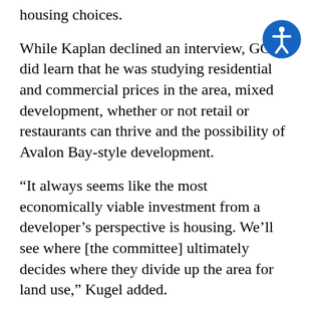housing choices.
While Kaplan declined an interview, GCJ did learn that he was studying residential and commercial prices in the area, mixed development, whether or not retail or restaurants can thrive and the possibility of Avalon Bay-style development.
“It always seems like the most economically viable investment from a developer’s perspective is housing. We’ll see where [the committee] ultimately decides where they divide up the area for land use,” Kugel added.
But nothing is set in stone just yet.
“At this point we’re listening to what the committee says and giving them options of